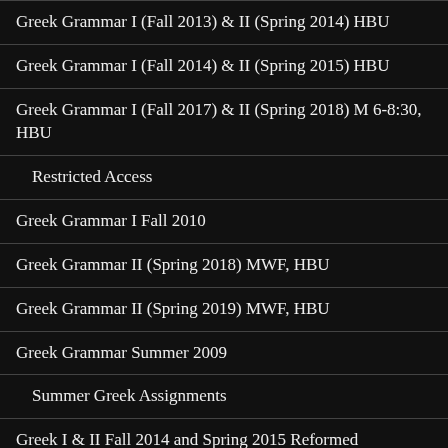Greek Grammar I (Fall 2013) & II (Spring 2014) HBU
Greek Grammar I (Fall 2014) & II (Spring 2015) HBU
Greek Grammar I (Fall 2017) & II (Spring 2018) M 6-8:30, HBU
Restricted Access
Greek Grammar I Fall 2010
Greek Grammar II (Spring 2018) MWF, HBU
Greek Grammar II (Spring 2019) MWF, HBU
Greek Grammar Summer 2009
Summer Greek Assignments
Greek I & II Fall 2014 and Spring 2015 Reformed Theological Seminary-Houston
Greek I & II Fall 2016 and Spring 2017 Reformed Theological Seminary-Houston